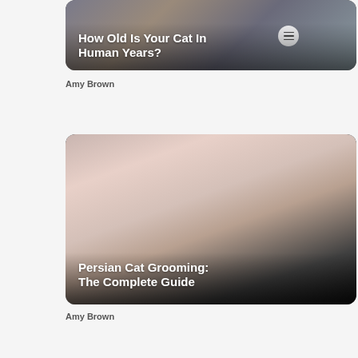[Figure (photo): Card with a cat photo for article: How Old Is Your Cat In Human Years?]
Amy Brown
[Figure (photo): Card with a person grooming a white Persian cat, article: Persian Cat Grooming: The Complete Guide]
Amy Brown